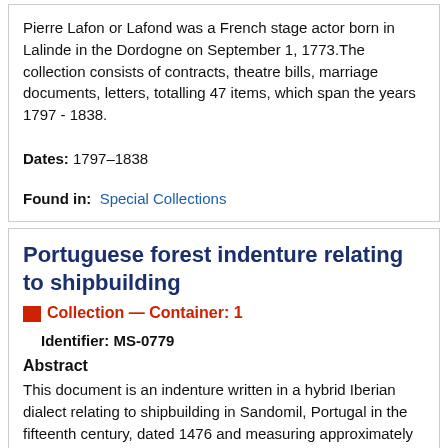Pierre Lafon or Lafond was a French stage actor born in Lalinde in the Dordogne on September 1, 1773.The collection consists of contracts, theatre bills, marriage documents, letters, totalling 47 items, which span the years 1797 - 1838.
Dates: 1797–1838
Found in: Special Collections
Portuguese forest indenture relating to shipbuilding
Collection — Container: 1
Identifier: MS-0779
Abstract
This document is an indenture written in a hybrid Iberian dialect relating to shipbuilding in Sandomil, Portugal in the fifteenth century, dated 1476 and measuring approximately 18 x 30 cm. There is currently no biographical